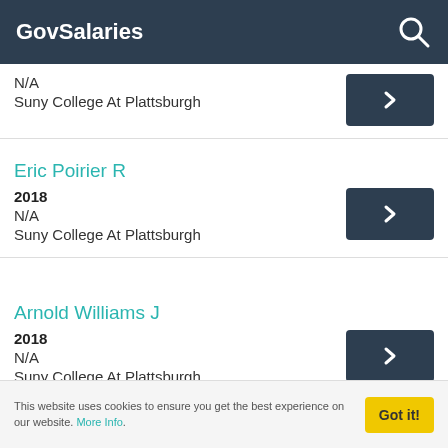GovSalaries
N/A
Suny College At Plattsburgh
Eric Poirier R
2018
N/A
Suny College At Plattsburgh
Arnold Williams J
2018
N/A
Suny College At Plattsburgh
Melissa More H a
This website uses cookies to ensure you get the best experience on our website. More Info.